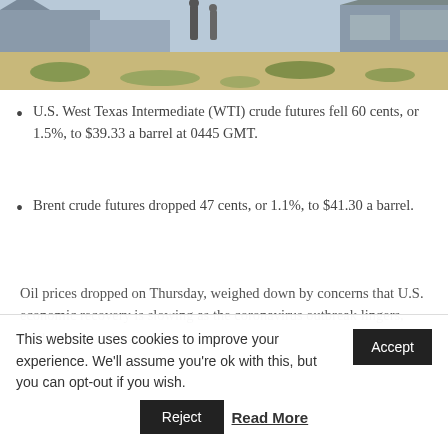[Figure (photo): Beach scene with people and buildings in background, sandy shore with green patches]
U.S. West Texas Intermediate (WTI) crude futures fell 60 cents, or 1.5%, to $39.33 a barrel at 0445 GMT.
Brent crude futures dropped 47 cents, or 1.1%, to $41.30 a barrel.
Oil prices dropped on Thursday, weighed down by concerns that U.S. economic recovery is slowing as the coronavirus outbreak lingers, while a renewed wave of
This website uses cookies to improve your experience. We'll assume you're ok with this, but you can opt-out if you wish.
Reject   Read More   Accept